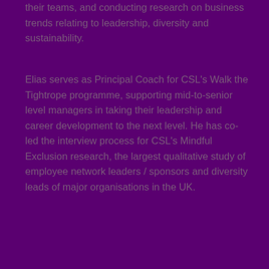their teams, and conducting research on business trends relating to leadership, diversity and sustainability.
Elias serves as Principal Coach for CSL's Walk the Tightrope programme, supporting mid-to-senior level managers in taking their leadership and career development to the next level. He has co-led the interview process for CSL's Mindful Exclusion research, the largest qualitative study of employee network leaders / sponsors and diversity leads of major organisations in the UK.